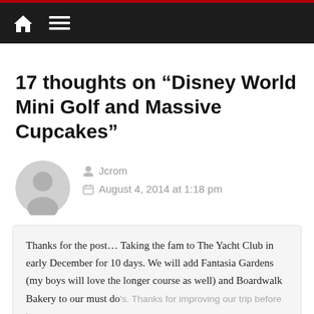Navigation bar with home icon and menu icon
17 thoughts on “Disney World Mini Golf and Massive Cupcakes”
Jcrom
August 4, 2014 at 1:18 pm
Thanks for the post… Taking the fam to The Yacht Club in early December for 10 days. We will add Fantasia Gardens (my boys will love the longer course as well) and Boardwalk Bakery to our must do's. Thanks for improving our trip before it even happens…